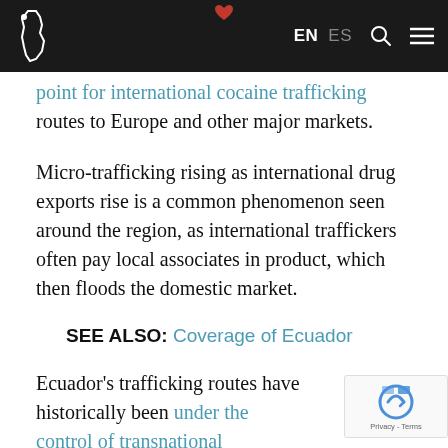EN ES [search] [menu]
point for international cocaine trafficking routes to Europe and other major markets.
Micro-trafficking rising as international drug exports rise is a common phenomenon seen around the region, as international traffickers often pay local associates in product, which then floods the domestic market.
SEE ALSO: Coverage of Ecuador
Ecuador's trafficking routes have historically been under the control of transnational organizations, including Colombian group Rastrojos, and, more recently, the Urabeños and